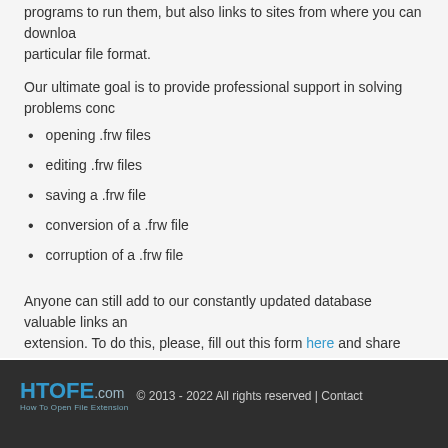programs to run them, but also links to sites from where you can download particular file format.
Our ultimate goal is to provide professional support in solving problems conc
opening .frw files
editing .frw files
saving a .frw file
conversion of a .frw file
corruption of a .frw file
Anyone can still add to our constantly updated database valuable links and extension. To do this, please, fill out this form here and share your knowledge
HTOFE.com How To Open File Extension © 2013 - 2022 All rights reserved | Contact